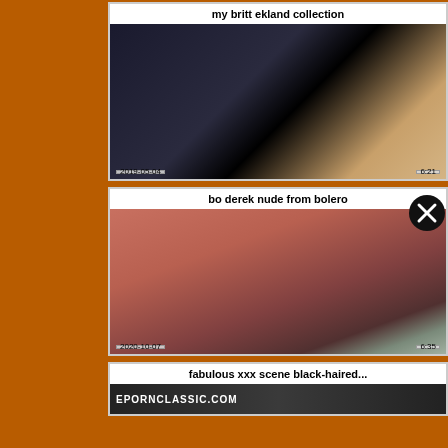[Figure (screenshot): Video thumbnail card for 'my britt ekland collection' dated 2019-05-04, duration 6:21]
my britt ekland collection
[Figure (screenshot): Video thumbnail card for 'bo derek nude from bolero' dated 2020-10-07, duration 6:35]
bo derek nude from bolero
[Figure (screenshot): Video thumbnail card for 'fabulous xxx scene black-haired...' with EPORNCLASSIC.COM branding]
fabulous xxx scene black-haired...